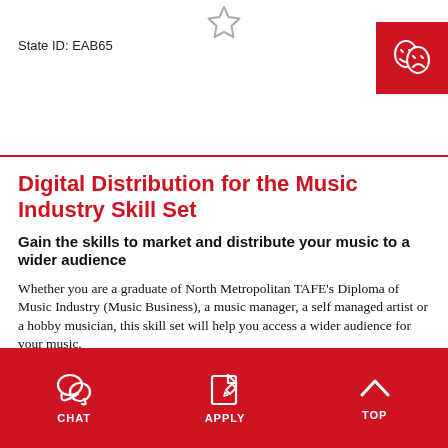State ID: EAB65
[Figure (illustration): Star outline icon (bookmark/favourite) centered at top]
[Figure (illustration): Red badge with theatre masks icon (performing arts) in top right corner]
Digital Distribution for the Music Industry Skill Set
Gain the skills to market and distribute your music to a wider audience
Whether you are a graduate of North Metropolitan TAFE's Diploma of Music Industry (Music Business), a music manager, a self managed artist or a hobby musician, this skill set will help you access a wider audience for your music.
Show description
CHAT   APPLY   TOP